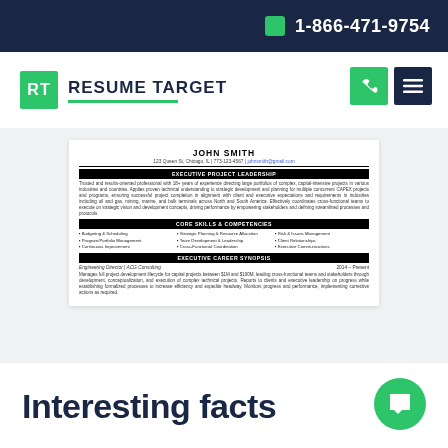1-866-471-9754
[Figure (logo): Resume Target logo with green RT box and text]
[Figure (screenshot): Resume preview showing John Smith executive resume with EXECUTIVE PROJECT LEADERSHIP section, CORE SKILLS & COMPETENCIES, and EXECUTIVE CAREER SYNOPSIS]
Interesting facts